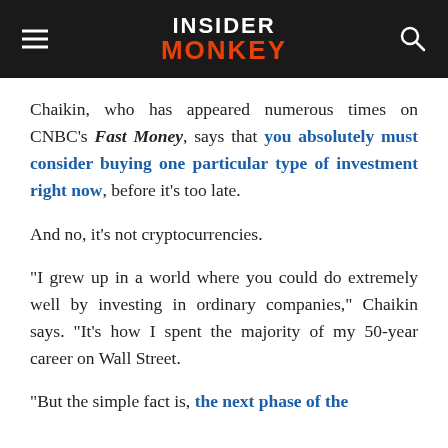INSIDER MONKEY
Chaikin, who has appeared numerous times on CNBC's Fast Money, says that you absolutely must consider buying one particular type of investment right now, before it's too late.
And no, it's not cryptocurrencies.
“I grew up in a world where you could do extremely well by investing in ordinary companies,” Chaikin says. “It’s how I spent the majority of my 50-year career on Wall Street.
“But the simple fact is, the next phase of the